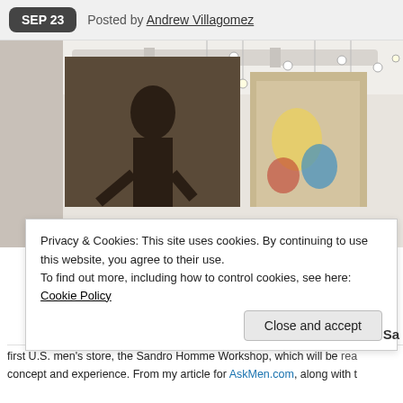SEP 23  Posted by Andrew Villagomez
[Figure (photo): Interior of a retail clothing store with large fashion photography prints on the wall, clothing racks, pendant lights, and a person browsing.]
Privacy & Cookies: This site uses cookies. By continuing to use this website, you agree to their use.
To find out more, including how to control cookies, see here: Cookie Policy
Close and accept
first U.S. men's store, the Sandro Homme Workshop, which will be rea
concept and experience. From my article for AskMen.com, along with t